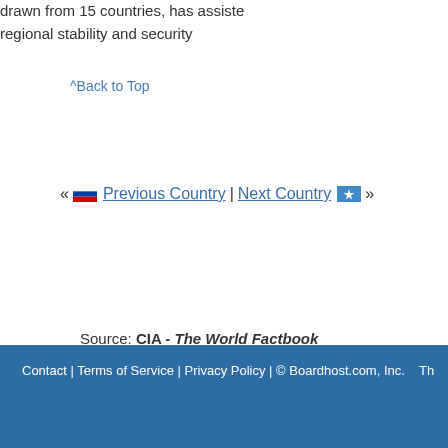drawn from 15 countries, has assisted regional stability and security
^Back to Top
« [flag] Previous Country | Next Country [flag] »
Source: CIA - The World Factbook
Contact | Terms of Service | Privacy Policy | © Boardhost.com, Inc.   Th